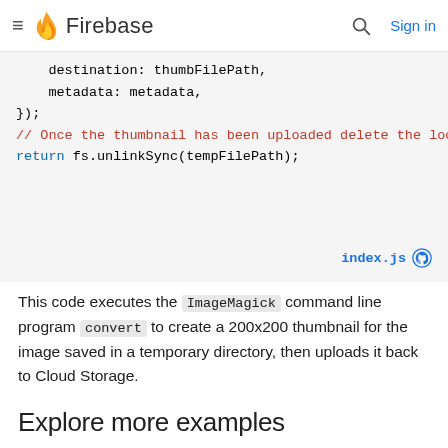≡ Firebase  [search] Sign in
destination: thumbFilePath,
    metadata: metadata,
});
// Once the thumbnail has been uploaded delete the loc
return fs.unlinkSync(tempFilePath);
index.js [github icon]
This code executes the ImageMagick command line program convert to create a 200x200 thumbnail for the image saved in a temporary directory, then uploads it back to Cloud Storage.
Explore more examples
More examples of common media transformation functions including transcoding images, moderating